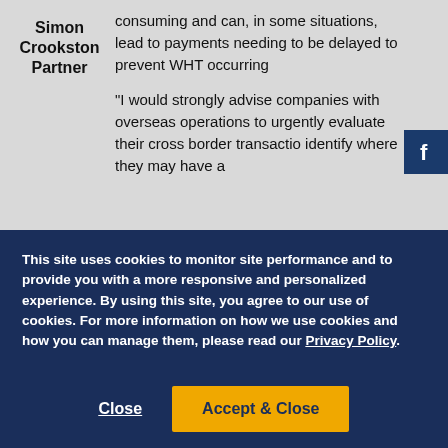consuming and can, in some situations, lead to payments needing to be delayed to prevent WHT occurring
Simon Crookston Partner
"I would strongly advise companies with overseas operations to urgently evaluate their cross border transactio identify where they may have a
[Figure (logo): Facebook social media icon button (dark navy blue background with white 'f' logo)]
This site uses cookies to monitor site performance and to provide you with a more responsive and personalized experience. By using this site, you agree to our use of cookies. For more information on how we use cookies and how you can manage them, please read our Privacy Policy.
Close
Accept & Close